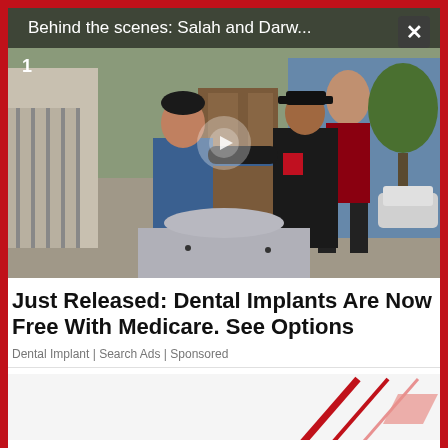[Figure (screenshot): Video thumbnail showing two men outdoors near murals, one in blue hoodie, one in black sportswear; video title overlay reads 'Behind the scenes: Salah and Darw...' with a play button and close (X) button. Number 1 shown top-left.]
Just Released: Dental Implants Are Now Free With Medicare. See Options
Dental Implant | Search Ads | Sponsored
[Figure (screenshot): Partial image showing a WWE-style graphic with red angular design elements on white/grey background.]